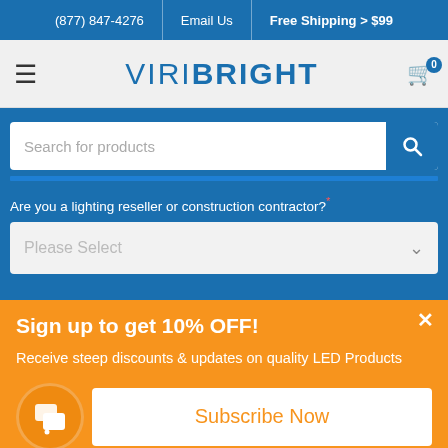(877) 847-4276 | Email Us | Free Shipping > $99
[Figure (logo): Viribright logo with hamburger menu and cart icon]
Search for products
Are you a lighting reseller or construction contractor?
Please Select
Sign up to get 10% OFF!
Receive steep discounts & updates on quality LED Products
Subscribe Now